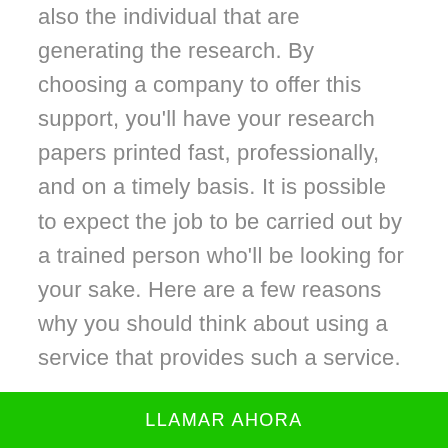also the individual that are generating the research. By choosing a company to offer this support, you'll have your research papers printed fast, professionally, and on a timely basis. It is possible to expect the job to be carried out by a trained person who'll be looking for your sake. Here are a few reasons why you should think about using a service that provides such a service.
The very first reason why you need to think about utilizing a paper support to produce your study paper is as it saves you more money. The cost of producing your research paper may get quite
LLAMAR AHORA